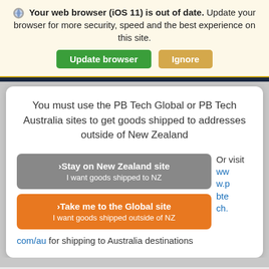Your web browser (iOS 11) is out of date. Update your browser for more security, speed and the best experience on this site.
[Figure (screenshot): Two buttons: green 'Update browser' and tan/gold 'Ignore']
You must use the PB Tech Global or PB Tech Australia sites to get goods shipped to addresses outside of New Zealand
>Stay on New Zealand site
I want goods shipped to NZ
Or visit www.pbtech.com/au for shipping to Australia destinations
>Take me to the Global site
I want goods shipped outside of NZ